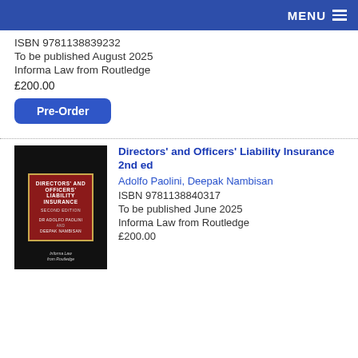MENU
ISBN 9781138839232
To be published August 2025
Informa Law from Routledge
£200.00
Pre-Order
[Figure (photo): Book cover of Directors' and Officers' Liability Insurance Second Edition by Dr Adolfo Paolini and Deepak Nambisan, published by Informa Law from Routledge. Black cover with red title panel and gold border.]
Directors' and Officers' Liability Insurance 2nd ed
Adolfo Paolini, Deepak Nambisan
ISBN 9781138840317
To be published June 2025
Informa Law from Routledge
£200.00